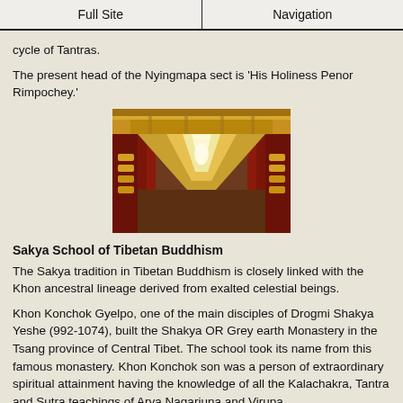Full Site | Navigation
cycle of Tantras.
The present head of the Nyingmapa sect is 'His Holiness Penor Rimpochey.'
[Figure (photo): Interior corridor of a Tibetan Buddhist monastery with ornate red and gold pillars on both sides, prayer wheels, and a vanishing point perspective toward the center.]
Sakya School of Tibetan Buddhism
The Sakya tradition in Tibetan Buddhism is closely linked with the Khon ancestral lineage derived from exalted celestial beings.
Khon Konchok Gyelpo, one of the main disciples of Drogmi Shakya Yeshe (992-1074), built the Shakya OR Grey earth Monastery in the Tsang province of Central Tibet. The school took its name from this famous monastery. Khon Konchok son was a person of extraordinary spiritual attainment having the knowledge of all the Kalachakra, Tantra and Sutra teachings of Arya Nagarjuna and Virupa.
Among his four sons Sonam Tsemo was a learned scholar with